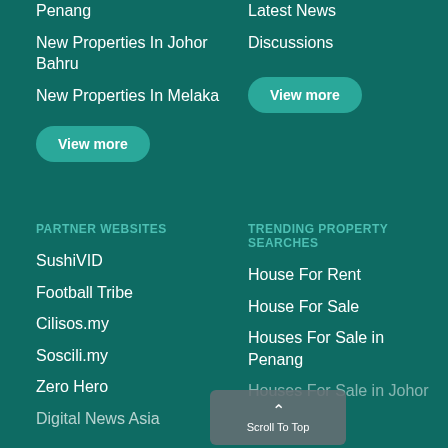Penang
New Properties In Johor Bahru
New Properties In Melaka
View more
Latest News
Discussions
View more
PARTNER WEBSITES
TRENDING PROPERTY SEARCHES
SushiVID
Football Tribe
Cilisos.my
Soscili.my
Zero Hero
Digital News Asia
House For Rent
House For Sale
Houses For Sale in Penang
Houses For Sale in Johor